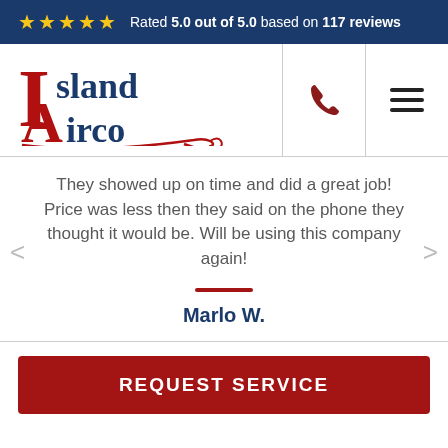Rated 5.0 out of 5.0 based on 117 reviews
[Figure (logo): Island Airco logo with stylized red 'I' and 'A' letters and blue text]
They showed up on time and did a great job! Price was less then they said on the phone they thought it would be. Will be using this company again!
Marlo W.
REQUEST SERVICE